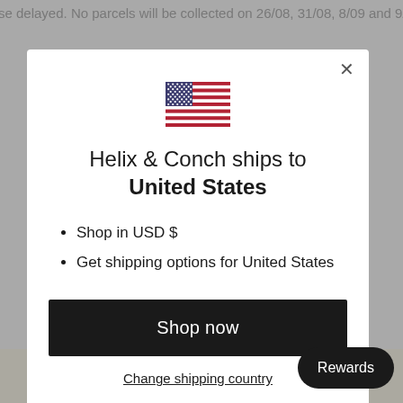se delayed. No parcels will be collected on 26/08, 31/08, 8/09 and 9/09 202
[Figure (illustration): US flag emoji/icon displayed at top center of modal]
Helix & Conch ships to United States
Shop in USD $
Get shipping options for United States
Shop now
Change shipping country
Rewards